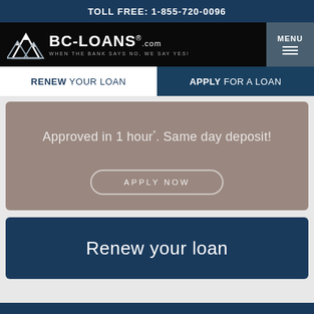TOLL FREE: 1-855-720-0096
[Figure (logo): BC-LOANS.com logo with mountain graphic and tagline WHEN THE BANK SAYS NO, WE SAY YES!]
MENU
RENEW YOUR LOAN
APPLY FOR A LOAN
Approved in 1 hour*. Same day deposit!
APPLY NOW
Renew your loan